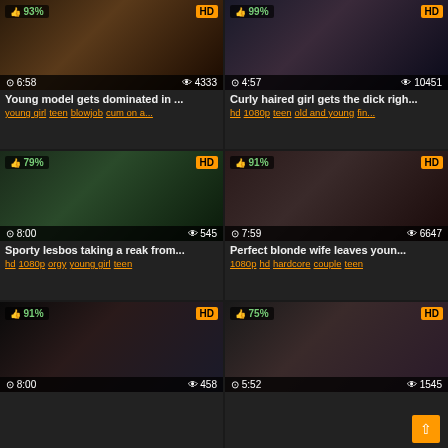[Figure (screenshot): Video thumbnail grid of adult content website showing 6 video thumbnails in a 2x3 grid layout with titles, tags, view counts, duration, HD badges, and rating percentages]
Young model gets dominated in ...
young girl teen blowjob cum on a...
Curly haired girl gets the dick righ...
hd 1080p teen old and young fin...
Sporty lesbos taking a reak from...
hd 1080p orgy young girl teen
Perfect blonde wife leaves youn...
1080p hd hardcore couple teen